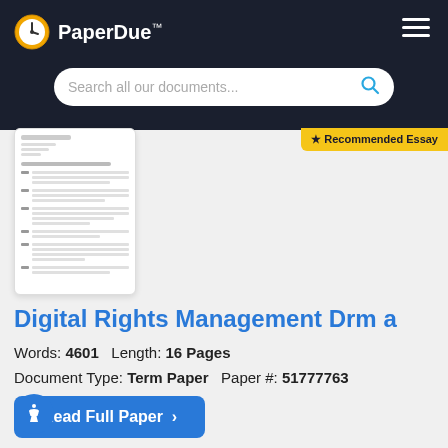PaperDue™
Search all our documents...
[Figure (screenshot): Preview thumbnail of a document page with formatted text content]
★ Recommended Essay
Digital Rights Management Drm a
Words: 4601   Length: 16 Pages
Document Type: Term Paper   Paper #: 51777763
Read Full Paper ›